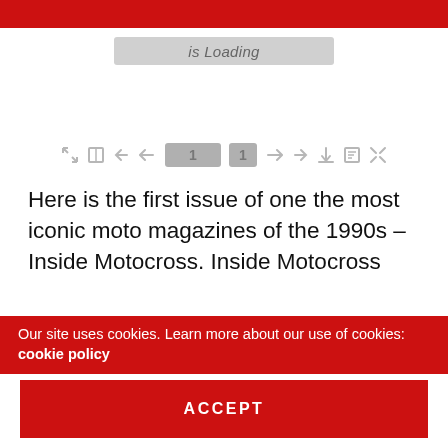[Figure (screenshot): Loading bar UI element showing italic text 'is Loading' inside a gray rounded rectangle]
[Figure (screenshot): PDF viewer toolbar with navigation icons, page number input showing '1' of '1', download, print, and fullscreen icons]
Here is the first issue of one the most iconic moto magazines of the 1990s – Inside Motocross. Inside Motocross was the brainchild of AXO Sport America founder Jim Hale and noted motocross photographer Fran Kuhn.  Published in 1993, Inside Motocross covered the sport of motocross and Supercross in a whole new way. Instead of focusing on bike tests and race results, Hale's new magazine centered itself around the personalities in the sport.
Our site uses cookies. Learn more about our use of cookies: cookie policy
ACCEPT